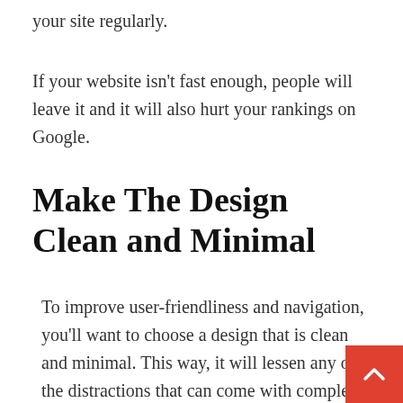your site regularly.
If your website isn't fast enough, people will leave it and it will also hurt your rankings on Google.
Make The Design Clean and Minimal
To improve user-friendliness and navigation, you'll want to choose a design that is clean and minimal. This way, it will lessen any of the distractions that can come with complex designs that